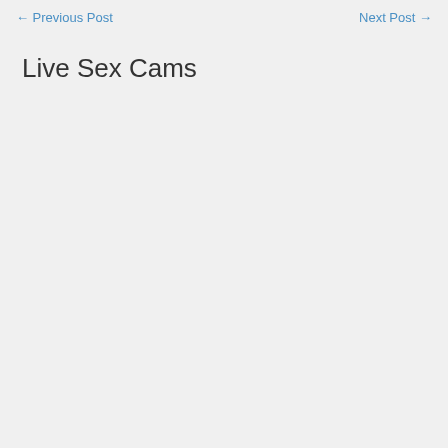← Previous Post    Next Post →
Live Sex Cams